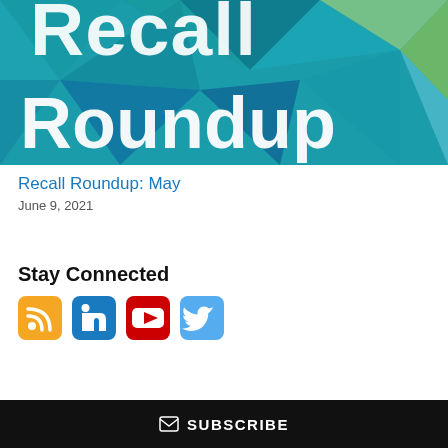[Figure (illustration): Recall Roundup graphic header image with teal/blue polygonal background and large white text reading 'Recall Roundup']
Recall Roundup: May
June 9, 2021
Stay Connected
[Figure (infographic): Row of four social media icons: RSS (orange), LinkedIn (blue), YouTube (red), Twitter (light blue)]
SUBSCRIBE